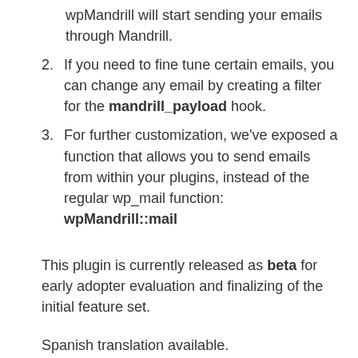wpMandrill will start sending your emails through Mandrill.
If you need to fine tune certain emails, you can change any email by creating a filter for the mandrill_payload hook.
For further customization, we've exposed a function that allows you to send emails from within your plugins, instead of the regular wp_mail function: wpMandrill::mail
This plugin is currently released as beta for early adopter evaluation and finalizing of the initial feature set.
Spanish translation available.
AITHMA
If you find that a part of this plugin isn't working,